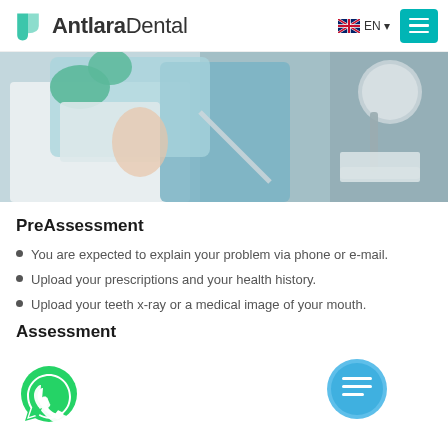AntlaraDental — EN
[Figure (photo): Dental clinic scene: a dentist in white coat and green gloves working near a patient in a dental chair, with dental equipment visible]
PreAssessment
You are expected to explain your problem via phone or e-mail.
Upload your prescriptions and your health history.
Upload your teeth x-ray or a medical image of your mouth.
Assessment